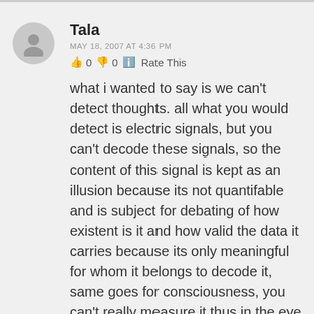Tala
MAY 18, 2007 AT 4:36 PM
👍 0 👎 0 ℹ Rate This
what i wanted to say is we can't detect thoughts. all what you would detect is electric signals, but you can't decode these signals, so the content of this signal is kept as an illusion because its not quantifable and is subject for debating of how existent is it and how valid the data it carries because its only meaningful for whom it belongs to decode it, same goes for consciousness, you can't really measure it thus in the eye